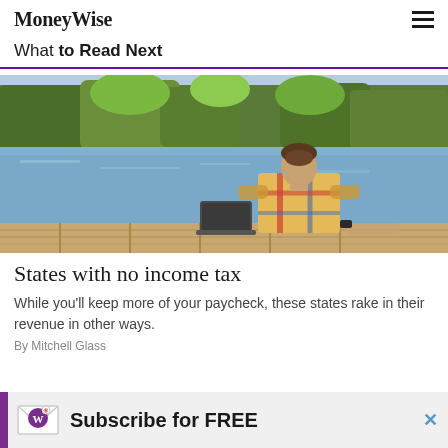MoneyWise
What to Read Next
[Figure (photo): Person sitting on a wooden dock facing a lake with trees in the background, with a closed laptop beside them, wearing a colorful plaid shirt]
States with no income tax
While you'll keep more of your paycheck, these states rake in their revenue in other ways.
By Mitchell Glass
Subscribe for FREE